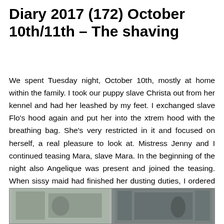Diary 2017 (172) October 10th/11th – The shaving
We spent Tuesday night, October 10th, mostly at home within the family. I took our puppy slave Christa out from her kennel and had her leashed by my feet. I exchanged slave Flo's hood again and put her into the xtrem hood with the breathing bag. She's very restricted in it and focused on herself, a real pleasure to look at. Mistress Jenny and I continued teasing Mara, slave Mara. In the beginning of the night also Angelique was present and joined the teasing. When sissy maid had finished her dusting duties, I ordered her to cut off slave Mara's hair and to shave it bald. Should we keep her and slave kelly?
[Figure (photo): Two side-by-side photos at the bottom of the page showing indoor scenes]